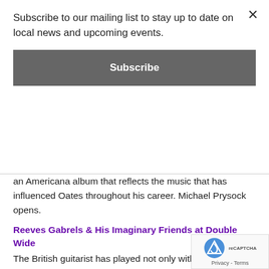Subscribe to our mailing list to stay up to date on local news and upcoming events.
Subscribe
an Americana album that reflects the music that has influenced Oates throughout his career. Michael Prysock opens.
Reeves Gabrels & His Imaginary Friends at Double Wide
The British guitarist has played not only with The Cure but also with the iconic David Bowie. Now he’s touring with his own project, Reeves Gabrels & His Imaginary Friends, and he’s stopping in town tonight before heading down to Austin for SXSW.
Til Midnight at the Nasher Sculpture Center
Museum fun all the way ‘til midnight. Visit the Nasher for free enjoy live music from Psychic Ills and Francine Thirteen a admire some quality art. Tonight’s show kicks off the new season of ‘Til Midnight at the Nasher.